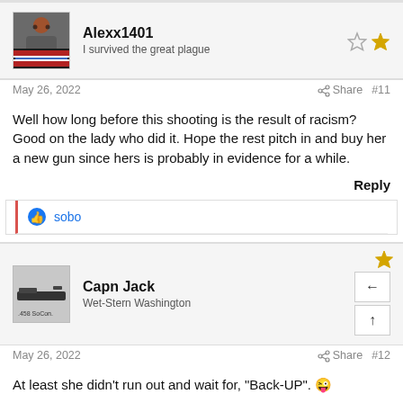Alexx1401 — I survived the great plague
May 26, 2022   Share   #11
Well how long before this shooting is the result of racism? Good on the lady who did it. Hope the rest pitch in and buy her a new gun since hers is probably in evidence for a while.
Reply
sobo
Capn Jack — Wet-Stern Washington
May 26, 2022   Share   #12
At least she didn't run out and wait for, "Back-UP". 😜